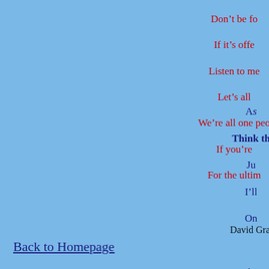Don't be fo
If it's offe
Listen to me
Let's all
We're all one peo
If you're
For the ultim
As
Think th
Ju
I'll
On

As
Think th
Ju
I'll
On
David Gra
Back to Homepage